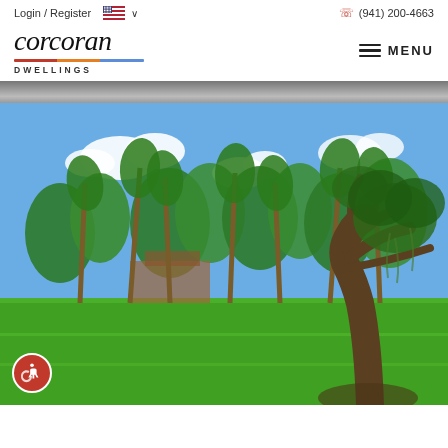Login / Register  🇺🇸 ∨       ☎ (941) 200-4663
[Figure (logo): Corcoran Dwellings real estate logo with italic script text and tricolor underline]
≡ MENU
[Figure (photo): Outdoor landscape with green lawn, tall palm trees draped with Spanish moss, large oak tree on the right, and a building partially visible through the trees under a blue sky with clouds]